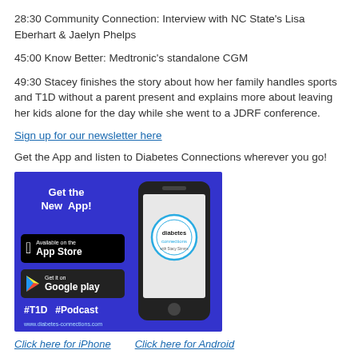28:30 Community Connection: Interview with NC State's Lisa Eberhart & Jaelyn Phelps
45:00 Know Better: Medtronic's standalone CGM
49:30 Stacey finishes the story about how her family handles sports and T1D without a parent present and explains more about leaving her kids alone for the day while she went to a JDRF conference.
Sign up for our newsletter here
Get the App and listen to Diabetes Connections wherever you go!
[Figure (illustration): Blue promotional graphic showing a smartphone with the Diabetes Connections app logo on screen, App Store and Google Play download badges, text 'Get the New App!', hashtags #T1D #Podcast, and website www.diabetes-connections.com]
Click here for iPhone    Click here for Android